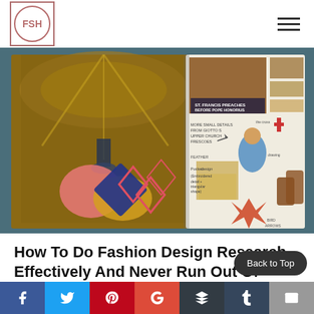FSH (logo)
[Figure (photo): Open sketchbook/moodboard showing fashion design research pages with Renaissance fresco photos, fabric swatches in pink, yellow, and navy blue geometric shapes, and handwritten notes about Giotto's upper church frescoes, pocket design, embroidered details, triangular shapes, and St. Francis preaches before Pope Honorius. Background is dark teal.]
How To Do Fashion Design Research Effectively And Never Run Out Of Ideas
This course will help anyone that uses research as part of their creative fashion design process.